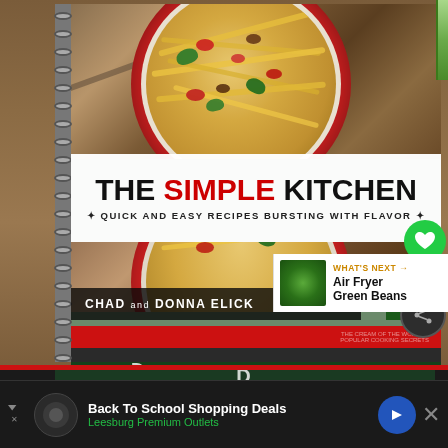[Figure (photo): Screenshot of a webpage showing a cookbook titled 'The Simple Kitchen: Quick and Easy Recipes Bursting with Flavor' by Chad and Donna Elick. The book cover features a red Dutch oven filled with pasta. On the right side is a green heart/like button with count '1' and a share button. A 'What's Next' panel shows 'Air Fryer Green Beans'. Below is an advertisement for 'Back To School Shopping Deals' at Leesburg Premium Outlets.]
THE SIMPLE KITCHEN
QUICK AND EASY RECIPES BURSTING WITH FLAVOR
CHAD and DONNA ELICK
WHAT'S NEXT → Air Fryer Green Beans
Back To School Shopping Deals
Leesburg Premium Outlets